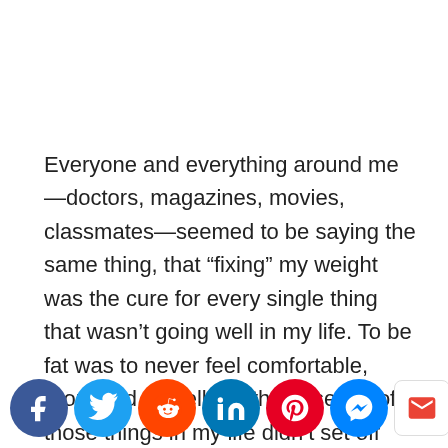Everyone and everything around me—doctors, magazines, movies, classmates—seemed to be saying the same thing, that “fixing” my weight was the cure for every single thing that wasn’t going well in my life. To be fat was to never feel comfortable, grounded or well. So the absence of those things in my life didn’t set off any alarms. I watched the culture connect emotional volatility, depression, and listlessness to fatness through movies like Death Becomes Her. So, when these things oge p me ell t we
[Figure (infographic): Social media share bar with icons: Facebook (blue circle), Twitter (light blue circle), Reddit (orange circle), LinkedIn (blue circle), Pinterest (red circle), Messenger (blue circle), Gmail (white rounded square with M), Scroll/up arrow (brown rounded square)]